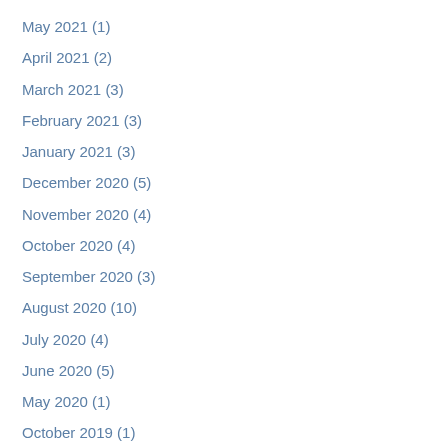May 2021 (1)
April 2021 (2)
March 2021 (3)
February 2021 (3)
January 2021 (3)
December 2020 (5)
November 2020 (4)
October 2020 (4)
September 2020 (3)
August 2020 (10)
July 2020 (4)
June 2020 (5)
May 2020 (1)
October 2019 (1)